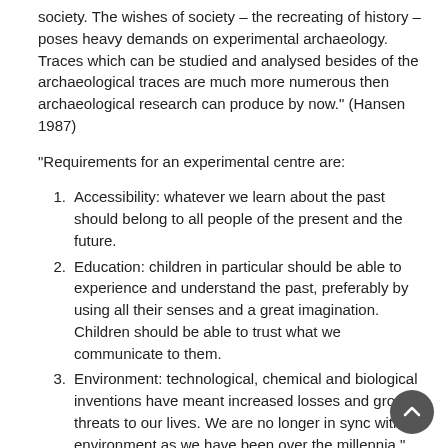society. The wishes of society – the recreating of history – poses heavy demands on experimental archaeology. Traces which can be studied and analysed besides of the archaeological traces are much more numerous then archaeological research can produce by now." (Hansen 1987)
"Requirements for an experimental centre are:
Accessibility: whatever we learn about the past should belong to all people of the present and the future.
Education: children in particular should be able to experience and understand the past, preferably by using all their senses and a great imagination. Children should be able to trust what we communicate to them.
Environment: technological, chemical and biological inventions have meant increased losses and growing threats to our lives. We are no longer in sync with our environment as we have been over the millennia." (Hansen 1986)